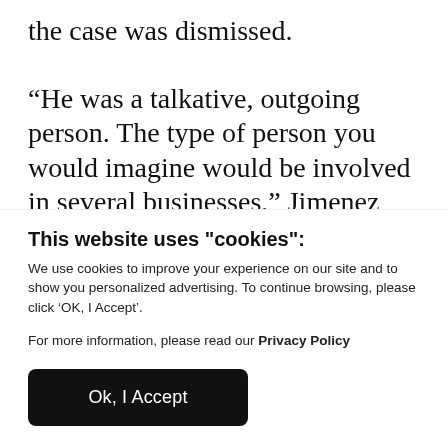the case was dismissed.
“He was a talkative, outgoing person. The type of person you would imagine would be involved in several businesses,” Jimenez said, adding that there were no indications that Arbabsiar was linked to terror groups or activities.
This website uses "cookies":
We use cookies to improve your experience on our site and to show you personalized advertising. To continue browsing, please click ‘OK, I Accept’.
For more information, please read our Privacy Policy
Ok, I Accept